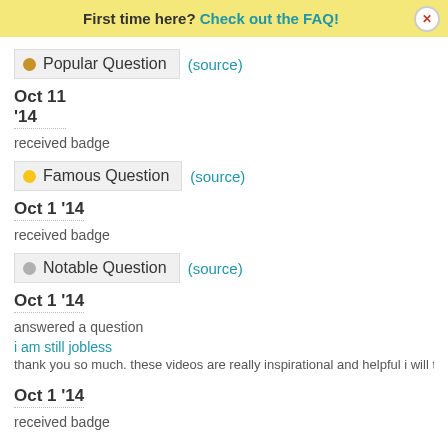First time here? Check out the FAQ!
Popular Question (source)
Oct 11 '14
received badge
Famous Question (source)
Oct 1 '14
received badge
Notable Question (source)
Oct 1 '14
answered a question
i am still jobless
thank you so much. these videos are really inspirational and helpful i will try
Oct 1 '14
received badge